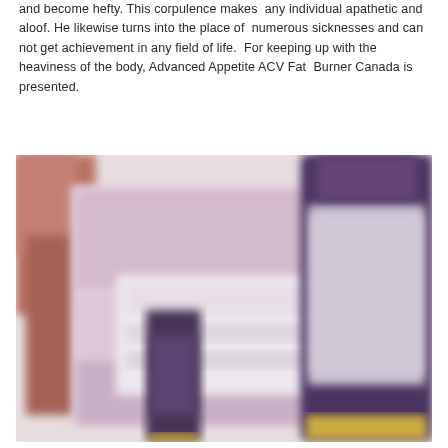and become hefty. This corpulence makes any individual apathetic and aloof. He likewise turns into the place of numerous sicknesses and can not get achievement in any field of life. For keeping up with the heaviness of the body, Advanced Appetite ACV Fat Burner Canada is presented.
[Figure (photo): Blurred product photo showing supplement bottles and packaging for Advanced Appetite ACV Fat Burner Canada, including a dark purple/violet bottle on the right and pink/white packaging in the center and left.]